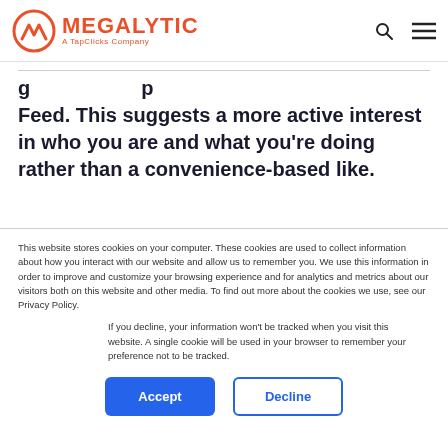MEGALYTIC A TapClicks Company
Feed. This suggests a more active interest in who you are and what you're doing rather than a convenience-based like.
This website stores cookies on your computer. These cookies are used to collect information about how you interact with our website and allow us to remember you. We use this information in order to improve and customize your browsing experience and for analytics and metrics about our visitors both on this website and other media. To find out more about the cookies we use, see our Privacy Policy.
If you decline, your information won't be tracked when you visit this website. A single cookie will be used in your browser to remember your preference not to be tracked.
Accept  Decline